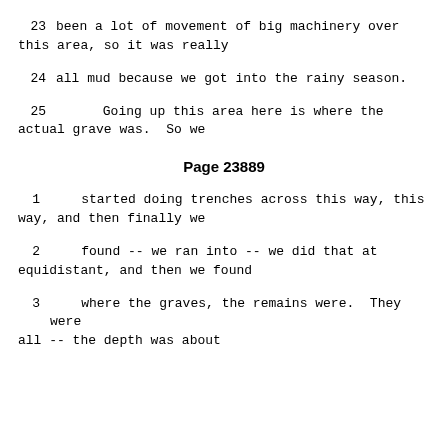23   been a lot of movement of big machinery over this area, so it was really
24   all mud because we got into the rainy season.
25         Going up this area here is where the actual grave was.  So we
Page 23889
1      started doing trenches across this way, this way, and then finally we
2      found -- we ran into -- we did that at equidistant, and then we found
3      where the graves, the remains were.  They were all -- the depth was about